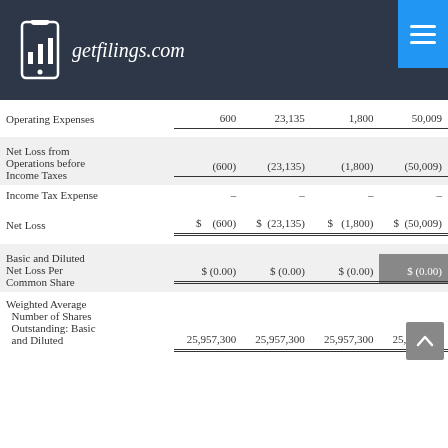getfilings.com
|  |  |  |  |  |
| --- | --- | --- | --- | --- |
| Operating Expenses | 600 | 23,135 | 1,800 | 50,009 |
| Net Loss from Operations before Income Taxes | (600) | (23,135) | (1,800) | (50,009) |
| Income Tax Expense | – | – | – | – |
| Net Loss | $ (600) | $ (23,135) | $ (1,800) | $ (50,009) |
| Basic and Diluted Net Loss Per Common Share | $ (0.00) | $ (0.00) | $ (0.00) | $ (0.00) |
| Weighted Average Number of Shares Outstanding: Basic and Diluted | 25,957,300 | 25,957,300 | 25,957,300 | 25,957,300 |